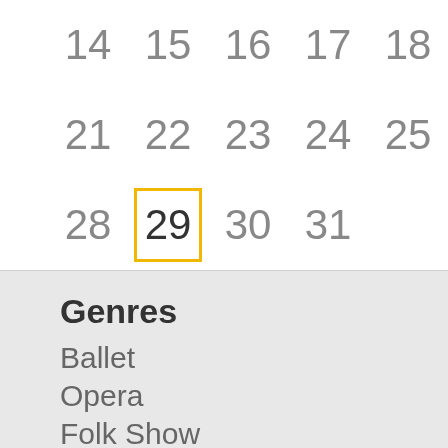[Figure (other): Partial calendar view showing rows with dates 14-18, 21-25, 28-31. Date 29 is highlighted with a yellow/gold border box.]
Genres
Ballet
Opera
Folk Show